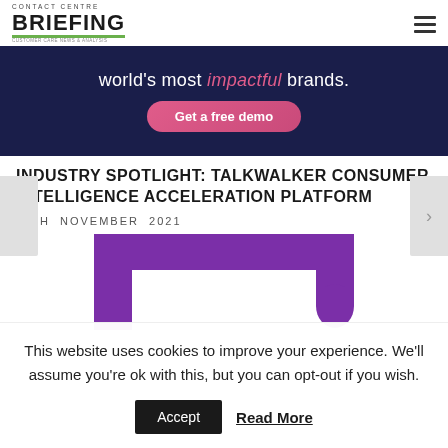CONTACT CENTRE BRIEFING
[Figure (infographic): Dark navy blue banner advertisement with text "world's most impactful brands." and a pink "Get a free demo" button]
INDUSTRY SPOTLIGHT: TALKWALKER CONSUMER INTELLIGENCE ACCELERATION PLATFORM
30TH NOVEMBER 2021
[Figure (illustration): Purple bracket/frame graphic, partially visible, associated with Talkwalker branding]
This website uses cookies to improve your experience. We'll assume you're ok with this, but you can opt-out if you wish.